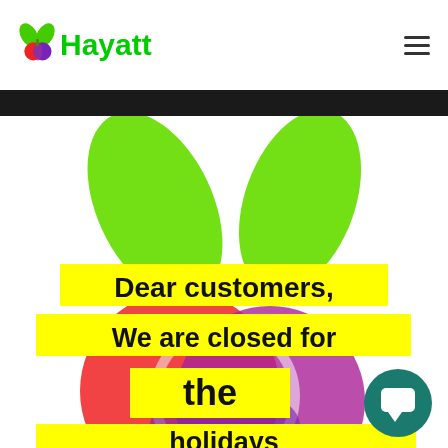[Figure (logo): Hayatt logo with colorful fruit icon (red, purple, green leaves) and green bold text 'Hayatt']
[Figure (illustration): Hayatt store closure announcement image showing green fruit leaves at top, colorful circular Hayatt logo in background, with yellow highlighted bold text reading 'Dear customers, We are closed for the [holidays]' and a teal chat button in the bottom right corner]